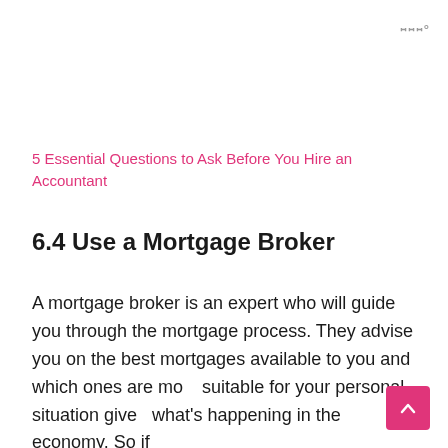ɯɯ°
5 Essential Questions to Ask Before You Hire an Accountant
6.4 Use a Mortgage Broker
A mortgage broker is an expert who will guide you through the mortgage process. They advise you on the best mortgages available to you and which ones are most suitable for your personal situation given what's happening in the economy. So if